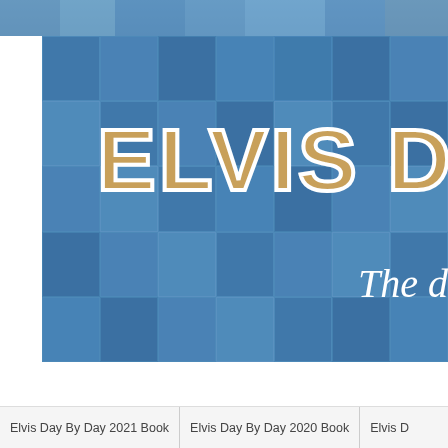[Figure (screenshot): Website banner for 'Elvis Day By Day' showing large golden bold text 'ELVIS DAY' on a blue mosaic background of Elvis album covers, with cursive white text 'The d' partially visible on the right side.]
Elvis Day By Day 2021 Book  |  Elvis Day By Day 2020 Book  |  Elvis D
April 30 - I Am Going To Have To Play Th